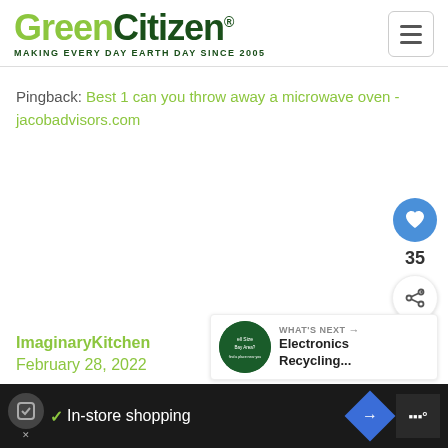GreenCitizen® MAKING EVERY DAY EARTH DAY SINCE 2005
Pingback: Best 1 can you throw away a microwave oven - jacobadvisors.com
ImaginaryKitchen
February 28, 2022
[Figure (infographic): Floating action buttons: heart/like button (blue circle), count 35, share button]
[Figure (infographic): What's Next panel with thumbnail and text: Electronics Recycling...]
[Figure (infographic): Bottom ad bar: in-store shopping advertisement with icons]